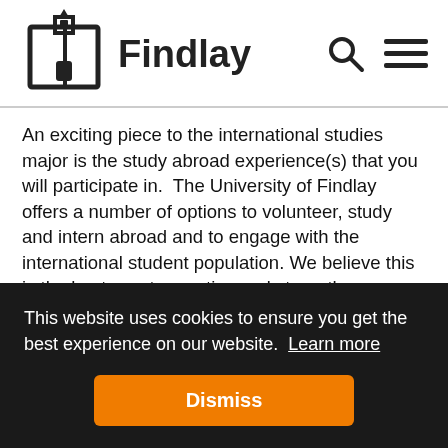Findlay
An exciting piece to the international studies major is the study abroad experience(s) that you will participate in.  The University of Findlay offers a number of options to volunteer, study and intern abroad and to engage with the international student population. We believe this is the best way to practice and strengthen your intercultural skills, so you will complete at least six semester hours of an international academic experience as part of the major. This can be fulfilled through University international study courses or through an affiliated
This website uses cookies to ensure you get the best experience on our website. Learn more
Dismiss